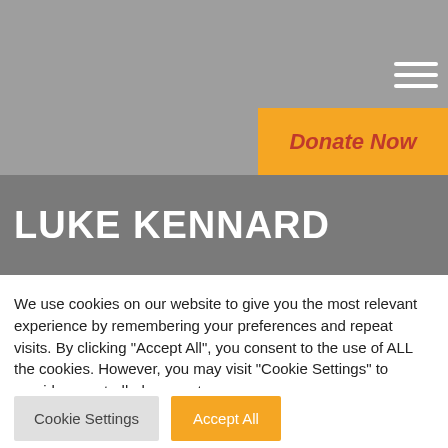[Figure (screenshot): Gray top banner with hamburger menu icon (three white horizontal lines) in the upper right and an orange 'Donate Now' button in red italic bold text partially visible on the right side.]
LUKE KENNARD
We use cookies on our website to give you the most relevant experience by remembering your preferences and repeat visits. By clicking “Accept All”, you consent to the use of ALL the cookies. However, you may visit "Cookie Settings" to provide a controlled consent.
Cookie Settings
Accept All